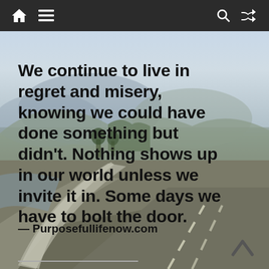Navigation bar with home, menu, search, and shuffle icons
[Figure (photo): Photograph of a winding road with a concrete barrier on the left, mountains and trees in the background, under a hazy sky. The road curves to the right with white dashed lane markings.]
We continue to live in regret and misery, knowing we could have done something but didn't. Nothing shows up in our world unless we invite it in. Some days we have to bolt the door.
— Purposefullifenow.com